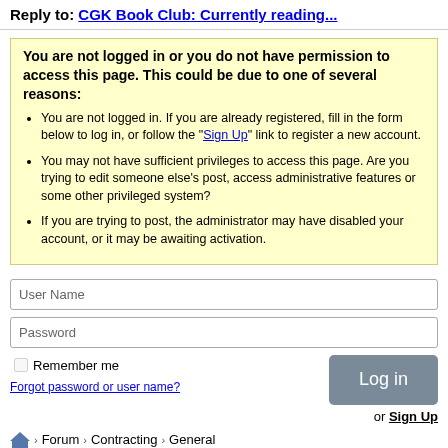Reply to: CGK Book Club: Currently reading...
You are not logged in or you do not have permission to access this page. This could be due to one of several reasons:
You are not logged in. If you are already registered, fill in the form below to log in, or follow the "Sign Up" link to register a new account.
You may not have sufficient privileges to access this page. Are you trying to edit someone else's post, access administrative features or some other privileged system?
If you are trying to post, the administrator may have disabled your account, or it may be awaiting activation.
User Name
Password
Remember me
Forgot password or user name?
Log in
or Sign Up
Forum > Contracting > General